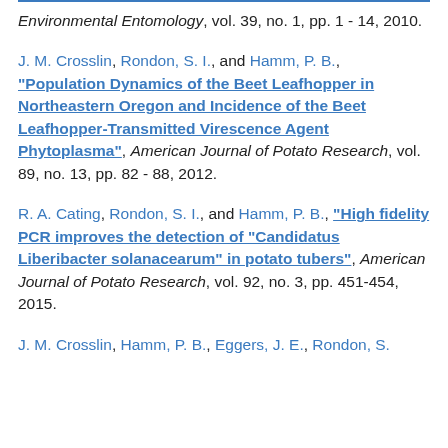Environmental Entomology, vol. 39, no. 1, pp. 1 - 14, 2010.
J. M. Crosslin, Rondon, S. I., and Hamm, P. B., "Population Dynamics of the Beet Leafhopper in Northeastern Oregon and Incidence of the Beet Leafhopper-Transmitted Virescence Agent Phytoplasma", American Journal of Potato Research, vol. 89, no. 13, pp. 82 - 88, 2012.
R. A. Cating, Rondon, S. I., and Hamm, P. B., "High fidelity PCR improves the detection of "Candidatus Liberibacter solanacearum" in potato tubers", American Journal of Potato Research, vol. 92, no. 3, pp. 451-454, 2015.
J. M. Crosslin, Hamm, P. B., Eggers, J. E., Rondon, S...